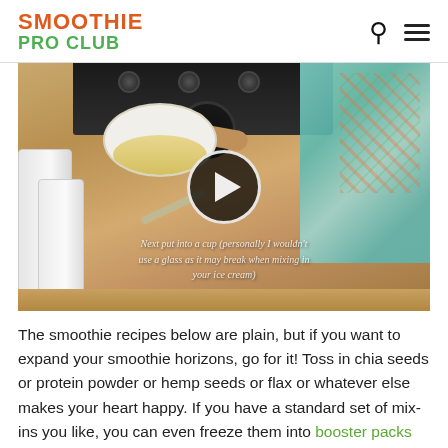SMOOTHIE PRO CLUB
[Figure (screenshot): Video thumbnail showing a person in a kitchen preparing food in a bowl near a stove, with a play button overlay and subtitle text: 'Next put into a cup (personally I wouldn't use a glass as it may break when mixing in your ice cream)']
The smoothie recipes below are plain, but if you want to expand your smoothie horizons, go for it! Toss in chia seeds or protein powder or hemp seeds or flax or whatever else makes your heart happy. If you have a standard set of mix-ins you like, you can even freeze them into booster packs great for really quick and easy smoothies!